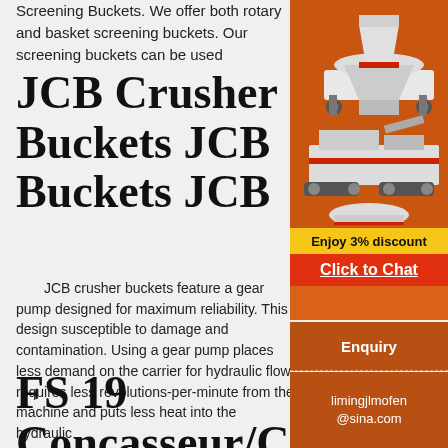Screening Buckets. We offer both rotary and basket screening buckets. Our screening buckets can be used
JCB Crusher Buckets JCB Buckets JCB
JCB crusher buckets feature a gear pump designed for maximum reliability. This design susceptible to damage and contamination. Using a gear pump places less demand on the carrier for hydraulic flow, requires less revolutions-per-minute from the machine and puts less heat into the hydraulic
FS 19 Concasseur/Crusher v1.0 - Farming
[Figure (illustration): Advertisement banner with mining/crushing machinery images on orange background, with Enjoy 3% discount text in yellow bar and Click to Chat in red bar]
Enquiry
limingjlmofen@sina.com